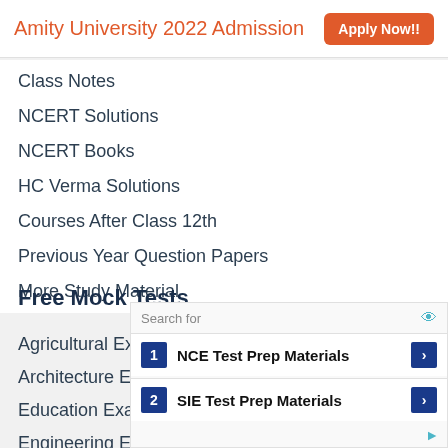Amity University 2022 Admission  Apply Now!!
Class Notes
NCERT Solutions
NCERT Books
HC Verma Solutions
Courses After Class 12th
Previous Year Question Papers
More Study Material
Free Mock Tests
Agricultural Exams
Architecture Exams
Education Exams
Engineering Exams
[Figure (infographic): Ad block with search bar and two result rows: 1. NCE Test Prep Materials, 2. SIE Test Prep Materials, with blue number badges and right-arrow buttons]